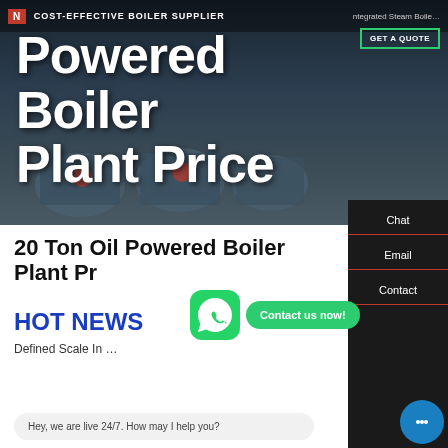[Figure (screenshot): Website hero banner with dark background showing industrial boilers, logo bar at top reading COST-EFFECTIVE BOILER SUPPLIER]
Powered Boiler Plant Price
20 Ton Oil Powered Boiler Plant Price
HOT NEWS
Defined Scale In ...
Hey, we are live 24/7. How may I help you?